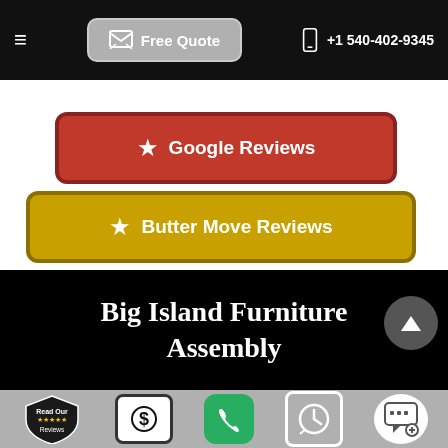≡  Free Quote  +1 540-402-9345
[Figure (screenshot): Red rounded button with star icon labeled 'Google Reviews']
[Figure (screenshot): Gold/mustard rounded button with star icon labeled 'Butter Move Reviews']
Big Island Furniture Assembly
Icon bar: Read Our Reviews shield, Dollar sign, Phone, Clock, Chat